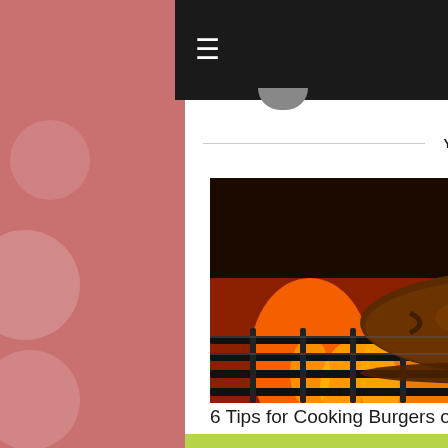Navigation bar with hamburger menu and search icon
YOU MIGHT ALSO LIKE
[Figure (photo): Burgers cooking on a gas grill with open flames visible beneath the grill grates]
6 Tips for Cooking Burgers on Gas Grill